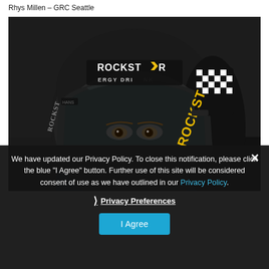Rhys Millen – GRC Seattle
[Figure (photo): Close-up photo of a racing driver wearing a black Rockstar Energy Drink helmet with visor down, looking directly at camera. Helmet has Rockstar Energy Drink branding and Troy Lee Designs signature.]
We have updated our Privacy Policy. To close this notification, please click the blue "I Agree" button. Further use of this site will be considered consent of use as we have outlined in our Privacy Policy.
❯ Privacy Preferences
I Agree